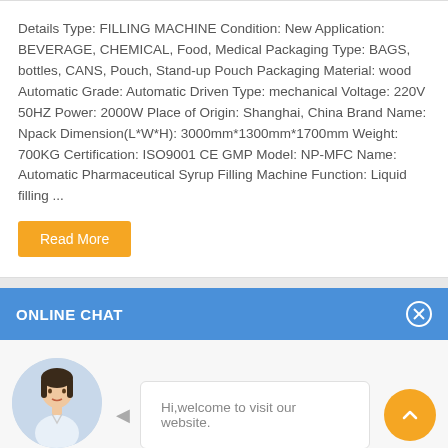Details Type: FILLING MACHINE Condition: New Application: BEVERAGE, CHEMICAL, Food, Medical Packaging Type: BAGS, bottles, CANS, Pouch, Stand-up Pouch Packaging Material: wood Automatic Grade: Automatic Driven Type: mechanical Voltage: 220V 50HZ Power: 2000W Place of Origin: Shanghai, China Brand Name: Npack Dimension(L*W*H): 3000mm*1300mm*1700mm Weight: 700KG Certification: ISO9001 CE GMP Model: NP-MFC Name: Automatic Pharmaceutical Syrup Filling Machine Function: Liquid filling ...
Read More
ONLINE CHAT
[Figure (photo): Avatar photo of a woman named Cilina, circular crop, with name label below]
Hi,welcome to visit our website.